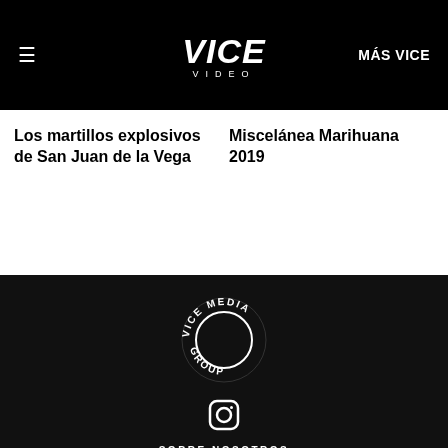≡  VICE VIDEO  MÁS VICE
Los martillos explosivos de San Juan de la Vega
Miscelánea Marihuana 2019
[Figure (logo): VICE MEDIA GROUP circular logo in white on black background]
[Figure (logo): Instagram icon (circle with camera outline) in white]
SOBRE NOSOTROS
© 2020 VICE MEDIA LLC